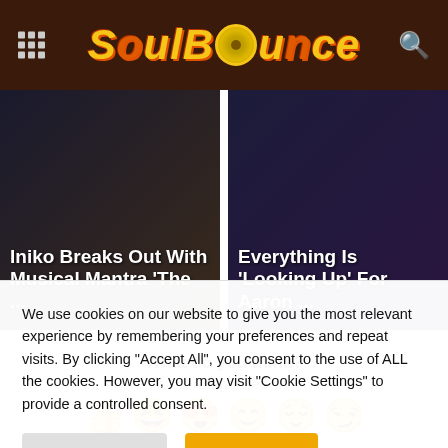SoulBounce
[Figure (screenshot): Article card: 'Iniko Breaks Out With Musical Mantra The ...' on dark background]
[Figure (screenshot): Article card: 'Everything Is Looking Up For Aaron ...' on dark background]
What do you think?
0 Responses
[Figure (infographic): Row of emoji reaction icons: thumbs up, grinning squinting face, heart eyes, smiling face, relieved face, smiling face with closed eyes]
We use cookies on our website to give you the most relevant experience by remembering your preferences and repeat visits. By clicking “Accept All”, you consent to the use of ALL the cookies. However, you may visit "Cookie Settings" to provide a controlled consent.
Cookie Settings   Accept All